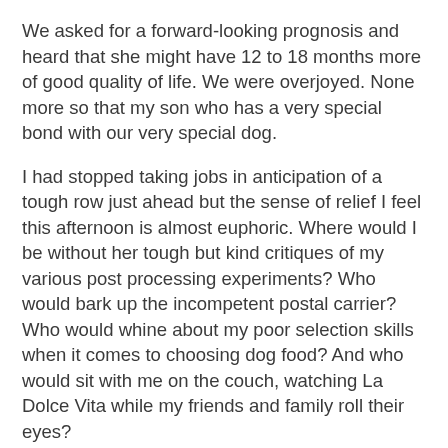We asked for a forward-looking prognosis and heard that she might have 12 to 18 months more of good quality of life. We were overjoyed. None more so that my son who has a very special bond with our very special dog.
I had stopped taking jobs in anticipation of a tough row just ahead but the sense of relief I feel this afternoon is almost euphoric. Where would I be without her tough but kind critiques of my various post processing experiments? Who would bark up the incompetent postal carrier? Who would whine about my poor selection skills when it comes to choosing dog food? And who would sit with me on the couch, watching La Dolce Vita while my friends and family roll their eyes?
She's rarely met a camera or lens she didn't like and has no patience for wedding photographers or Tony Northrup's videos. But rather than write her eulogy today I'm thrilled that I'll be running errands and doing favors for her for months to come. Now, if I can only convince her to use part of her allowance to help me buy a couple of Leica lenses.....  But no. Dogs aren't nearly as dense and impractical as me.